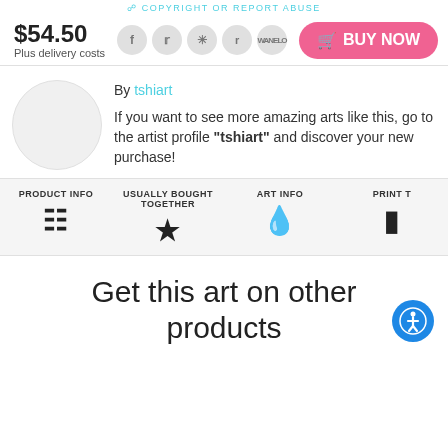COPYRIGHT OR REPORT ABUSE
$54.50
Plus delivery costs
BUY NOW
By tshiart
If you want to see more amazing arts like this, go to the artist profile "tshiart" and discover your new purchase!
PRODUCT INFO
USUALLY BOUGHT TOGETHER
ART INFO
PRINT T
Get this art on other products